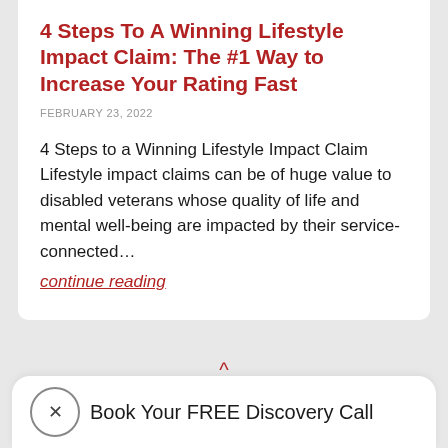4 Steps To A Winning Lifestyle Impact Claim:  The #1 Way to Increase Your Rating Fast
FEBRUARY 23, 2022
4 Steps to a Winning Lifestyle Impact Claim Lifestyle impact claims can be of huge value to disabled veterans whose quality of life and mental well-being are impacted by their service-connected…
continue reading
Book Your FREE Discovery Call